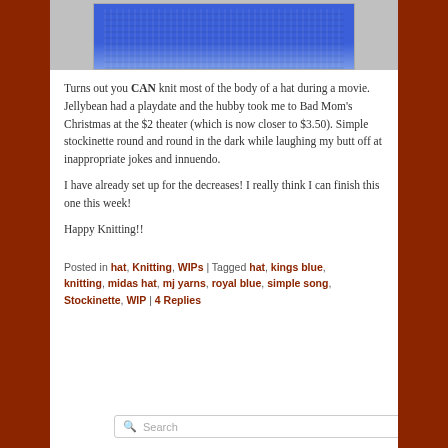[Figure (photo): Photo of a blue knitted hat in progress on a brown surface, cropped to show mainly the knitted fabric]
Turns out you CAN knit most of the body of a hat during a movie. Jellybean had a playdate and the hubby took me to Bad Mom's Christmas at the $2 theater (which is now closer to $3.50). Simple stockinette round and round in the dark while laughing my butt off at inappropriate jokes and innuendo.
I have already set up for the decreases! I really think I can finish this one this week!
Happy Knitting!!
Posted in hat, Knitting, WIPs | Tagged hat, kings blue, knitting, midas hat, mj yarns, royal blue, simple song, Stockinette, WIP | 4 Replies